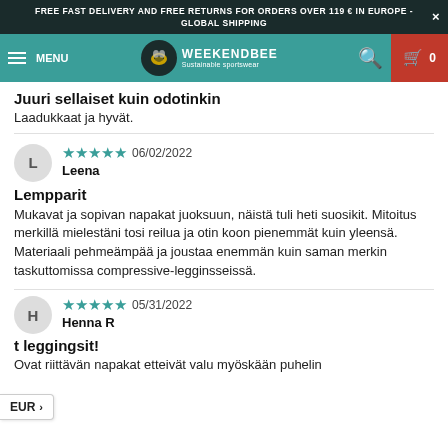FREE FAST DELIVERY AND FREE RETURNS FOR ORDERS OVER 119 € IN EUROPE - GLOBAL SHIPPING
[Figure (logo): Weekendbee Sustainable sportswear logo with bee icon, teal navigation bar with MENU, search icon, and cart icon showing 0]
Juuri sellaiset kuin odotinkin
Laadukkaat ja hyvät.
★★★★★ 06/02/2022
Leena
Lempparit
Mukavat ja sopivan napakat juoksuun, näistä tuli heti suosikit. Mitoitus merkillä mielestäni tosi reilua ja otin koon pienemmät kuin yleensä. Materiaali pehmeämpää ja joustaa enemmän kuin saman merkin taskuttomissa compressive-legginsseissä.
★★★★★ 05/31/2022
Henna R
t leggingsit!
Ovat riittävän napakat etteivät valu myöskään puhelin